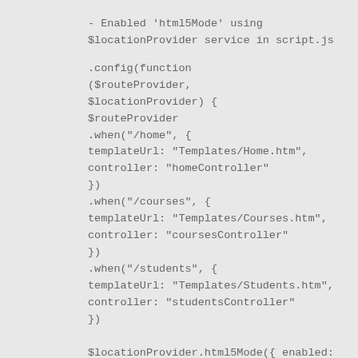- Enabled 'html5Mode' using $locationProvider service in script.js
.config(function                        ($routeProvider, $locationProvider) {
$routeProvider
.when("/home", {
templatUrl: "Templates/Home.htm",
controller: "homeController"
})
.when("/courses", {
templateUrl: "Templates/Courses.htm",
controller: "coursesController"
})
.when("/students", {
templateUrl: "Templates/Students.htm",
controller: "studentsController"
})

$locationProvider.html5Mode({ enabled: true
});
})